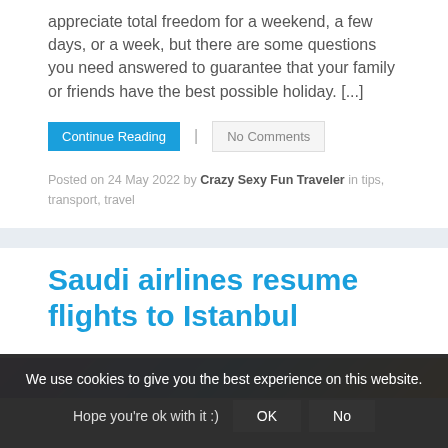appreciate total freedom for a weekend, a few days, or a week, but there are some questions you need answered to guarantee that your family or friends have the best possible holiday. [...]
Continue Reading | No Comments
Posted on 24 May 2022 by Crazy Sexy Fun Traveler in tips, transport, travel
Saudi airlines resume flights to Istanbul
[Figure (photo): Partial view of a travel photo at bottom of article]
We use cookies to give you the best experience on this website. Hope you're ok with it :) OK No